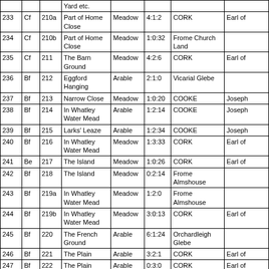| No. | Field | Map No. | Name | Land Use | Area | Owner | Occupier |
| --- | --- | --- | --- | --- | --- | --- | --- |
|  |  |  | Yard etc. |  |  |  |  |
| 233 | Cf | 210a | Part of Home Close | Meadow | 4:1:2 | CORK | Earl of |
| 234 | Cf | 210b | Part of Home Close | Meadow | 1:0:32 | Frome Church Land |  |
| 235 | Cf | 211 | The Barn Ground | Meadow | 4:2:6 | CORK | Earl of |
| 236 | Bf | 212 | Eggford Hanging | Arable | 2:1:0 | Vicarial Glebe |  |
| 237 | Bf | 213 | Narrow Close | Meadow | 1:0:20 | COOKE | Joseph |
| 238 | Bf | 214 | In Whatley Water Mead | Arable | 1:2:14 | COOKE | Joseph |
| 239 | Bf | 215 | Larks' Leaze | Arable | 1:2:34 | COOKE | Joseph |
| 240 | Bf | 216 | In Whatley Water Mead | Meadow | 1:3:33 | CORK | Earl of |
| 241 | Be | 217 | The Island | Meadow | 1:0:26 | CORK | Earl of |
| 242 | Bf | 218 | The Island | Meadow | 0:2:14 | Frome Almshouse |  |
| 243 | Bf | 219a | In Whatley Water Mead | Meadow | 1:2:0 | Frome Almshouse |  |
| 244 | Bf | 219b | In Whatley Water Mead | Meadow | 3:0:13 | CORK | Earl of |
| 245 | Bf | 220 | The French Ground | Arable | 6:1:24 | Orchardleigh Glebe |  |
| 246 | Bf | 221 | The Plain | Arable | 3:2:1 | CORK | Earl of |
| 247 | Bf | 222 | The Plain | Arable | 0:3:0 | CORK | Earl of |